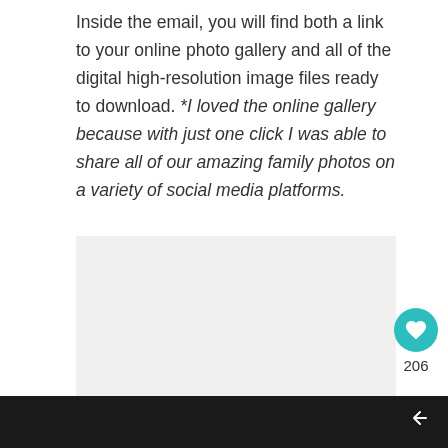Inside the email, you will find both a link to your online photo gallery and all of the digital high-resolution image files ready to download. *I loved the online gallery because with just one click I was able to share all of our amazing family photos on a variety of social media platforms.
[Figure (photo): Light gray placeholder image block]